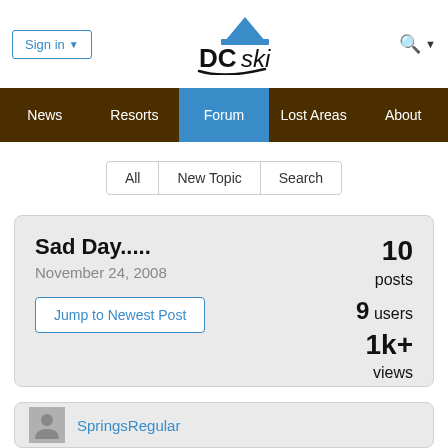Sign in | DCski | Search
News | Resorts | Forum | Lost Areas | About
All  New Topic  Search
Sad Day.....
November 24, 2008
Jump to Newest Post
10 posts
9 users
1k+ views
SpringsRegular